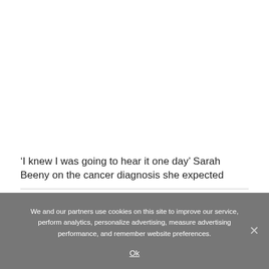‘I knew I was going to hear it one day’ Sarah Beeny on the cancer diagnosis she expected
We and our partners use cookies on this site to improve our service, perform analytics, personalize advertising, measure advertising performance, and remember website preferences.
Ok